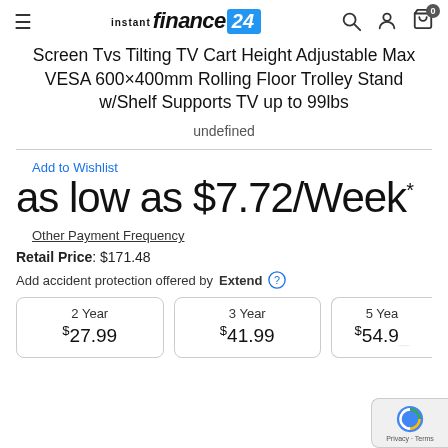instant finance 24 [logo]
Screen Tvs Tilting TV Cart Height Adjustable Max VESA 600×400mm Rolling Floor Trolley Stand w/Shelf Supports TV up to 99lbs
undefined
Add to Wishlist
as low as $7.72/Week*
Other Payment Frequency
Retail Price: $171.48
Add accident protection offered by Extend
| 2 Year | 3 Year | 5 Year |
| --- | --- | --- |
| $27.99 | $41.99 | $54.9_ |